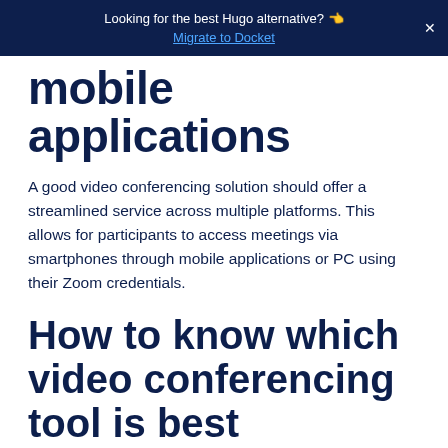Looking for the best Hugo alternative? 👈 Migrate to Docket
mobile applications
A good video conferencing solution should offer a streamlined service across multiple platforms. This allows for participants to access meetings via smartphones through mobile applications or PC using their Zoom credentials.
How to know which video conferencing tool is best
In this section, we discuss some of the most dynamic